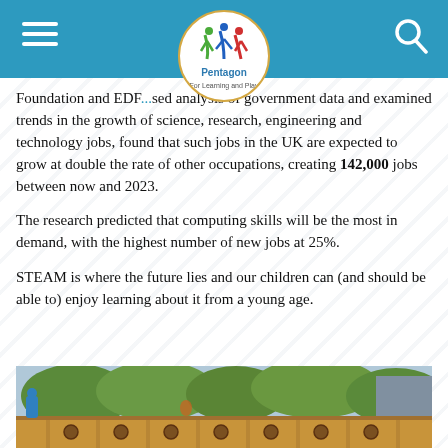Pentagon For Learning and Play
Foundation and EDF... based analysis of government data and examined trends in the growth of science, research, engineering and technology jobs, found that such jobs in the UK are expected to grow at double the rate of other occupations, creating 142,000 jobs between now and 2023.
The research predicted that computing skills will be the most in demand, with the highest number of new jobs at 25%.
STEAM is where the future lies and our children can (and should be able to) enjoy learning about it from a young age.
[Figure (photo): Outdoor wooden play equipment/frame with circular holes, set against green trees and sky background]